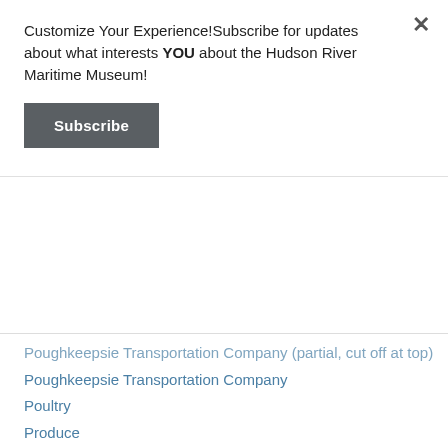Customize Your Experience!Subscribe for updates about what interests YOU about the Hudson River Maritime Museum!
Subscribe
Poughkeepsie Transportation Company
Poultry
Produce
P. T. Barnum
Race Tracks
Railroad
Railroad Travel
Ray Ruge
Real Estate
Rescues
Revolutionary War
Rhinecliff
Riverkeeper